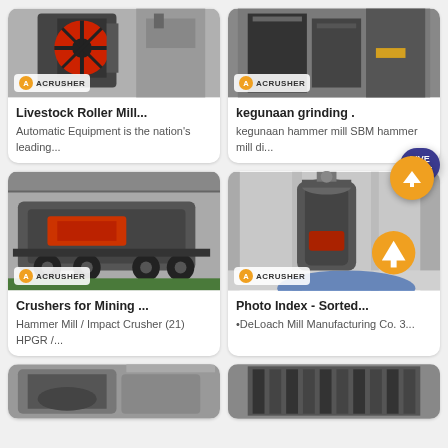[Figure (photo): Industrial roller mill machinery with red wheel, Acrusher branded]
Livestock Roller Mill...
Automatic Equipment is the nation's leading...
[Figure (photo): Industrial grinding/hammer mill equipment, dark grey metal, Acrusher branded]
kegunaan grinding .
kegunaan hammer mill SBM hammer mill di...
[Figure (photo): Large mobile crushing plant on wheels in factory/warehouse, Acrusher branded]
Crushers for Mining ...
Hammer Mill / Impact Crusher (21) HPGR /...
[Figure (photo): Vertical shaft impact crusher or grinding mill in industrial facility, Acrusher branded]
Photo Index - Sorted...
•DeLoach Mill Manufacturing Co. 3...
[Figure (photo): Partial view of industrial mill equipment, bottom of page]
[Figure (photo): Partial view of industrial equipment building, bottom of page]